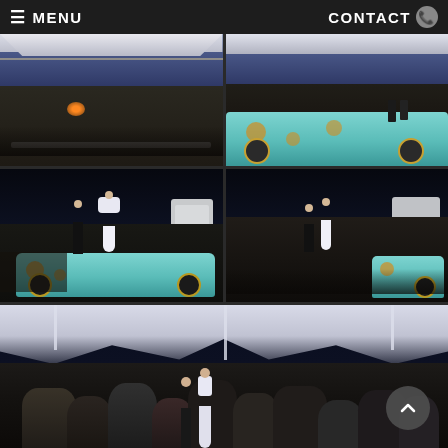☰ MENU    CONTACT 📞
[Figure (photo): Wedding reception outdoor event under a large white tent marquee at dusk/evening, crowd of guests gathered on grass with fire pit, wide shot]
[Figure (photo): Wedding couple seated on the hood of a classic teal/mint colored car with polka dot paint at evening, guests visible under tent in background]
[Figure (photo): Groom spinning bride in white dress for first dance outdoors at night next to vintage teal polka dot car, caravan visible in background]
[Figure (photo): Wedding couple dancing together outdoors at night, guests watching in background, vintage teal polka dot car and caravan visible]
[Figure (photo): Wide panoramic shot of wedding reception under large white sailing tent at night, crowd of guests visible below illuminated tent edges with fairy lights]